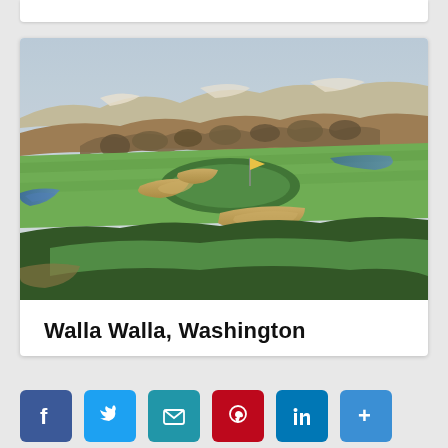[Figure (photo): Aerial view of a golf course in Walla Walla, Washington, showing green fairways with sand bunkers, a flag pin, water feature, and rolling hills with sparse trees in the background under a hazy sky.]
Walla Walla, Washington